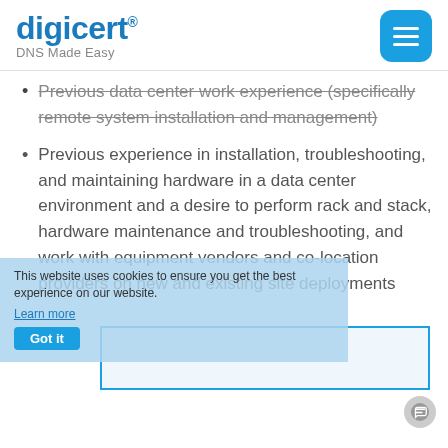digicert® DNS Made Easy
Previous data center work experience (specifically remote system installation and management)
Previous experience in installation, troubleshooting, and maintaining hardware in a data center environment and a desire to perform rack and stack, hardware maintenance and troubleshooting, and work with equipment vendors and co-location providers on new and existing site deployments
This website uses cookies to ensure you get the best experience on our website.
Learn more
Got it